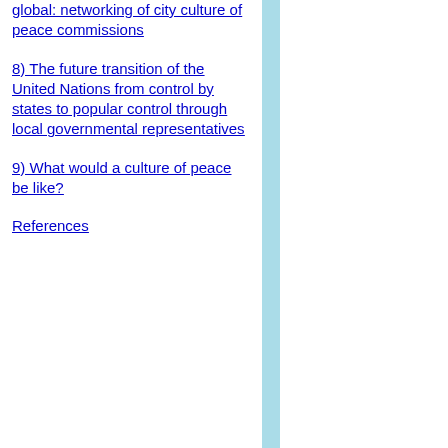global: networking of city culture of peace commissions
8) The future transition of the United Nations from control by states to popular control through local governmental representatives
9) What would a culture of peace be like?
References